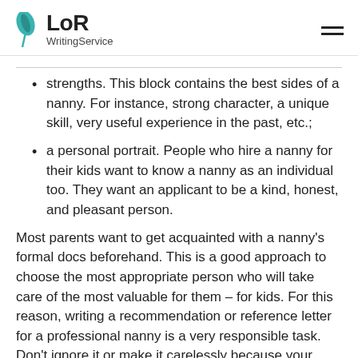LoR WritingService
strengths. This block contains the best sides of a nanny. For instance, strong character, a unique skill, very useful experience in the past, etc.;
a personal portrait. People who hire a nanny for their kids want to know a nanny as an individual too. They want an applicant to be a kind, honest, and pleasant person.
Most parents want to get acquainted with a nanny's formal docs beforehand. This is a good approach to choose the most appropriate person who will take care of the most valuable for them – for kids. For this reason, writing a recommendation or reference letter for a professional nanny is a very responsible task. Don't ignore it or make it carelessly because your employee deserves such appreciation.